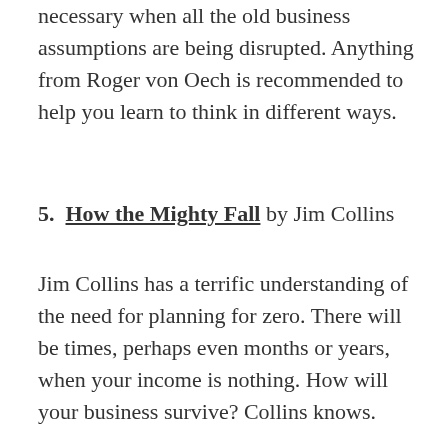necessary when all the old business assumptions are being disrupted. Anything from Roger von Oech is recommended to help you learn to think in different ways.
5. How the Mighty Fall by Jim Collins
Jim Collins has a terrific understanding of the need for planning for zero. There will be times, perhaps even months or years, when your income is nothing. How will your business survive? Collins knows.